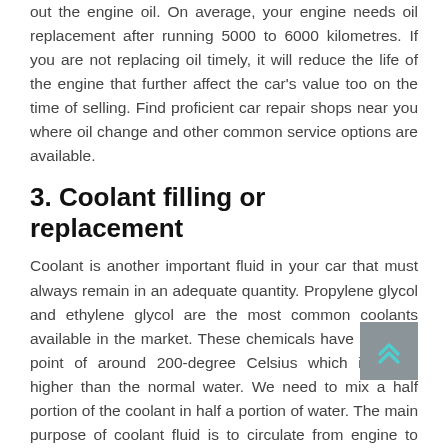out the engine oil. On average, your engine needs oil replacement after running 5000 to 6000 kilometres. If you are not replacing oil timely, it will reduce the life of the engine that further affect the car's value too on the time of selling. Find proficient car repair shops near you where oil change and other common service options are available.
3. Coolant filling or replacement
Coolant is another important fluid in your car that must always remain in an adequate quantity. Propylene glycol and ethylene glycol are the most common coolants available in the market. These chemicals have a boiling point of around 200-degree Celsius which is much higher than the normal water. We need to mix a half portion of the coolant in half a portion of water. The main purpose of coolant fluid is to circulate from engine to radiator in order to carry heat and exhale it out. If your car is lacking coolant, the engine will overheat and the car will stop in the middle of the road.
4. Electric supply system